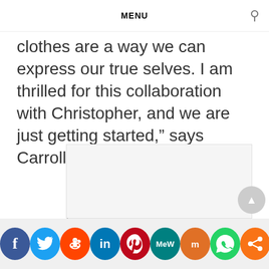MENU
clothes are a way we can express our true selves. I am thrilled for this collaboration with Christopher, and we are just getting started,” says Carroll.
[Figure (other): Navigation post area with previous post left arrow and next post right arrow labels, central image placeholder box]
Social share icons: Facebook, Twitter, Reddit, LinkedIn, Pinterest, MeWe, Mix, WhatsApp, Share